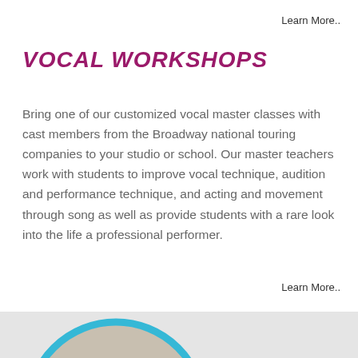Learn More..
VOCAL WORKSHOPS
Bring one of our customized vocal master classes with cast members from the Broadway national touring companies to your studio or school. Our master teachers work with students to improve vocal technique, audition and performance technique, and acting and movement through song as well as provide students with a rare look into the life a professional performer.
Learn More..
[Figure (photo): Circular photo of a person, partially visible at the bottom of the page, with a teal/blue circular border, on a light gray background.]